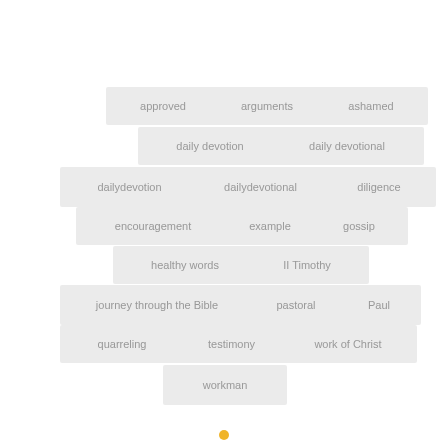[Figure (other): Tag cloud with keyword labels: approved, arguments, ashamed, daily devotion, daily devotional, dailydevotion, dailydevotional, diligence, encouragement, example, gossip, healthy words, II Timothy, journey through the Bible, pastoral, Paul, quarreling, testimony, work of Christ, workman]